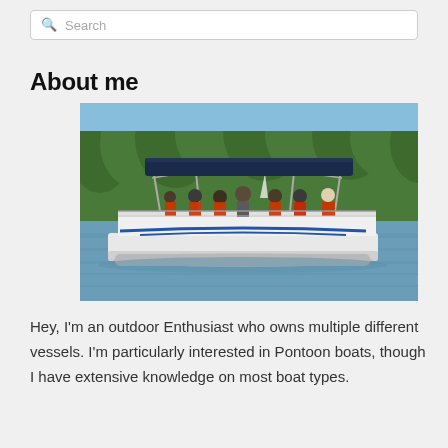Search
About me
[Figure (photo): A pontoon boat on a lake with multiple passengers wearing orange life jackets, under a blue canopy bimini top, with a tree-lined shore in the background.]
Hey, I'm an outdoor Enthusiast who owns multiple different vessels. I'm particularly interested in Pontoon boats, though I have extensive knowledge on most boat types.